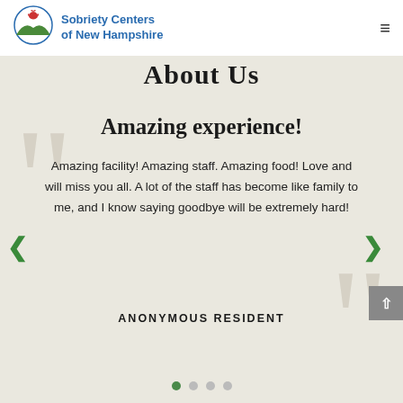[Figure (logo): Sobriety Centers of New Hampshire logo with green leaf/landscape icon and blue text]
About Us
Amazing experience!
Amazing facility! Amazing staff. Amazing food! Love and will miss you all. A lot of the staff has become like family to me, and I know saying goodbye will be extremely hard!
ANONYMOUS RESIDENT